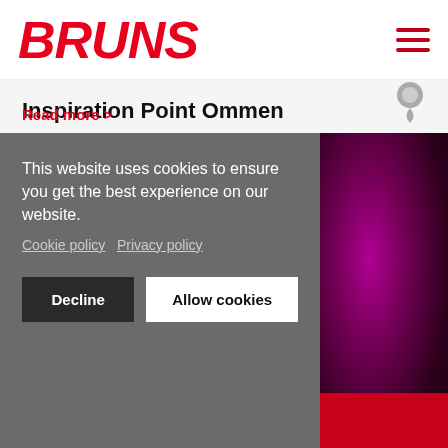BRUNS
Inspiration Point Ommen
Ommen, The Netherlands
The Tourist Inspiration Point Ommen is housed in the renewed Cultural Historic Centre of Ommen.
Read more >
This website uses cookies to ensure you get the best experience on our website. Cookie policy  Privacy policy
Decline
Allow cookies